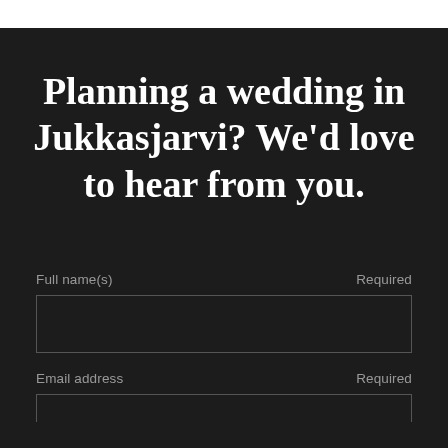Planning a wedding in Jukkasjarvi? We'd love to hear from you.
Full name(s)   Required
Email address   Required